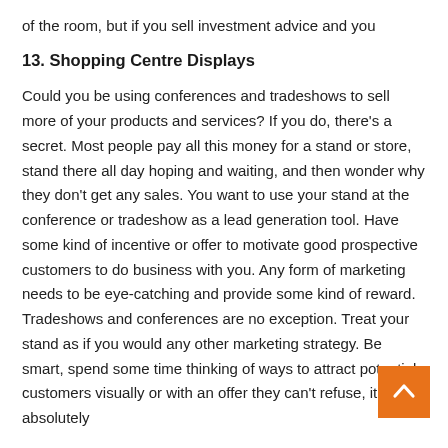of the room, but if you sell investment advice and you
13. Shopping Centre Displays
Could you be using conferences and tradeshows to sell more of your products and services? If you do, there's a secret. Most people pay all this money for a stand or store, stand there all day hoping and waiting, and then wonder why they don't get any sales. You want to use your stand at the conference or tradeshow as a lead generation tool. Have some kind of incentive or offer to motivate good prospective customers to do business with you. Any form of marketing needs to be eye-catching and provide some kind of reward. Tradeshows and conferences are no exception. Treat your stand as if you would any other marketing strategy. Be smart, spend some time thinking of ways to attract potential customers visually or with an offer they can't refuse, it will absolutely